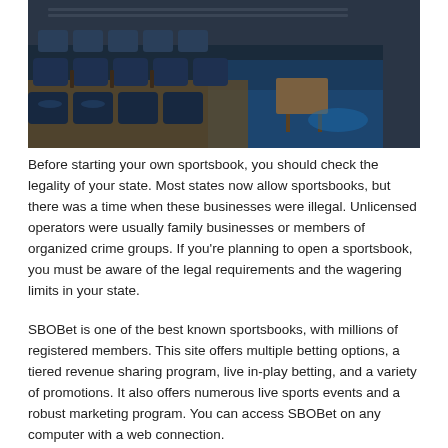[Figure (photo): Interior of a sportsbook lounge with rows of blue leather recliners and small side tables, with a blue-lit aisle and a wooden table in the background]
Before starting your own sportsbook, you should check the legality of your state. Most states now allow sportsbooks, but there was a time when these businesses were illegal. Unlicensed operators were usually family businesses or members of organized crime groups. If you’re planning to open a sportsbook, you must be aware of the legal requirements and the wagering limits in your state.
SBOBet is one of the best known sportsbooks, with millions of registered members. This site offers multiple betting options, a tiered revenue sharing program, live in-play betting, and a variety of promotions. It also offers numerous live sports events and a robust marketing program. You can access SBOBet on any computer with a web connection.
SBOBet is one of the best known sportsbooks...